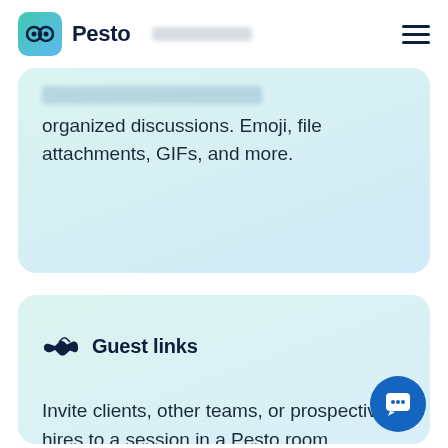Pesto
organized discussions. Emoji, file attachments, GIFs, and more.
Guest links
Invite clients, other teams, or prospective hires to a session in a Pesto room.